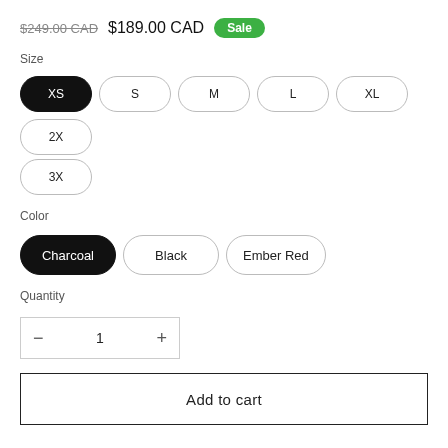$249.00 CAD  $189.00 CAD  Sale
Size
XS (selected), S, M, L, XL, 2X, 3X
Color
Charcoal (selected), Black, Ember Red
Quantity
- 1 +
Add to cart